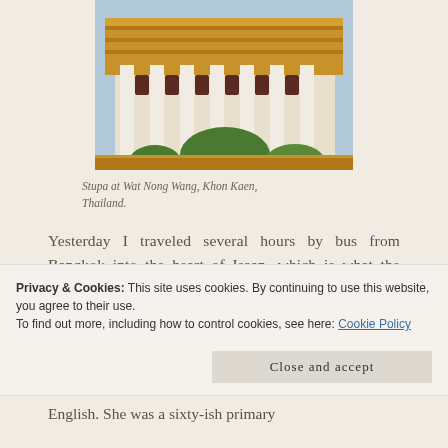[Figure (photo): Photograph of a Thai Buddhist temple (Wat Nong Wang) in Khon Kaen, Thailand, showing ornate gold and white architecture with decorative rooflines and green shrubs in the foreground.]
Stupa at Wat Nong Wang, Khon Kaen, Thailand.
Yesterday I traveled several hours by bus from Bangkok into the heart of Isaan, which is what the Thais call northeast Thailand. My destination was Khon Kaen, where I would stay a
Privacy & Cookies: This site uses cookies. By continuing to use this website, you agree to their use.
To find out more, including how to control cookies, see here: Cookie Policy
Close and accept
English. She was a sixty-ish primary